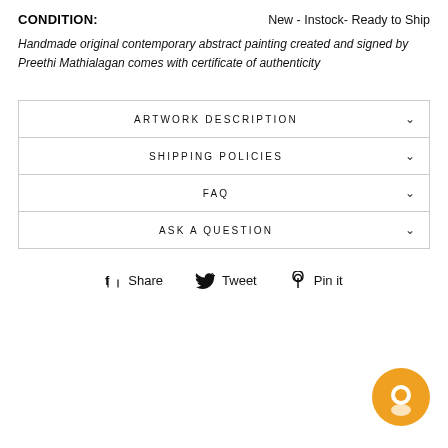CONDITION: New - Instock- Ready to Ship
Handmade original contemporary abstract painting created and signed by Preethi Mathialagan comes with certificate of authenticity
ARTWORK DESCRIPTION
SHIPPING POLICIES
FAQ
ASK A QUESTION
Share  Tweet  Pin it
[Figure (illustration): Orange circular chat bubble icon in bottom right corner]